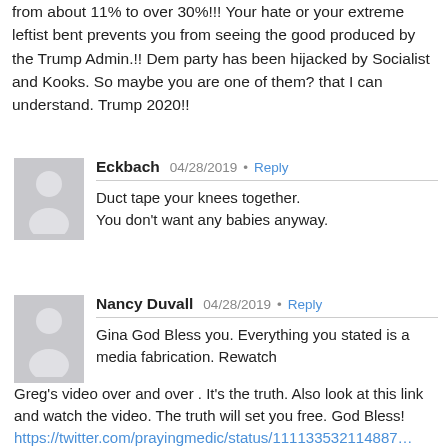from about 11% to over 30%!!! Your hate or your extreme leftist bent prevents you from seeing the good produced by the Trump Admin.!! Dem party has been hijacked by Socialist and Kooks. So maybe you are one of them? that I can understand. Trump 2020!!
Eckbach  04/28/2019 · Reply
Duct tape your knees together.
You don't want any babies anyway.
Nancy Duvall  04/28/2019 · Reply
Gina God Bless you. Everything you stated is a media fabrication. Rewatch Greg's video over and over . It's the truth. Also look at this link and watch the video. The truth will set you free. God Bless!
https://twitter.com/prayingmedic/status/111133532114887... s=21